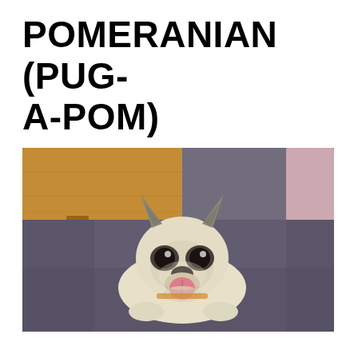POMERANIAN (PUG-A-POM)
[Figure (photo): A small pug-pomeranian mixed breed dog (Pug-a-Pom) lying on a dark gray shag carpet, looking up at the camera with its tongue sticking out and a happy expression. A wooden furniture leg and cushion are visible in the background. The dog has a light cream/fawn colored coat with dark facial markings typical of a pug.]